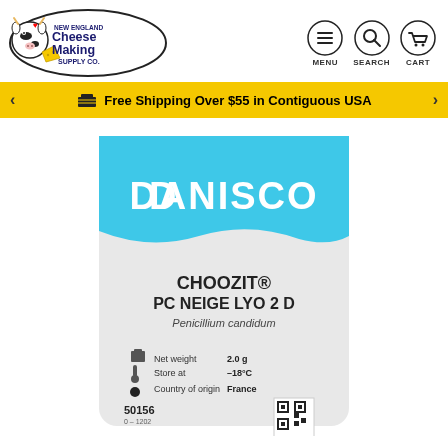[Figure (logo): New England Cheese Making Supply Co. logo with cartoon cow]
[Figure (infographic): Navigation icons: Menu (hamburger), Search (magnifying glass), Cart (shopping cart) with labels MENU, SEARCH, CART]
Free Shipping Over $55 in Contiguous USA
[Figure (photo): Danisco CHOOZIT PC NEIGE LYO 2 D Penicillium candidum package - blue and white foil packet. Net weight 2.0 g, Store at -18°C, Country of origin France, item number 50156]